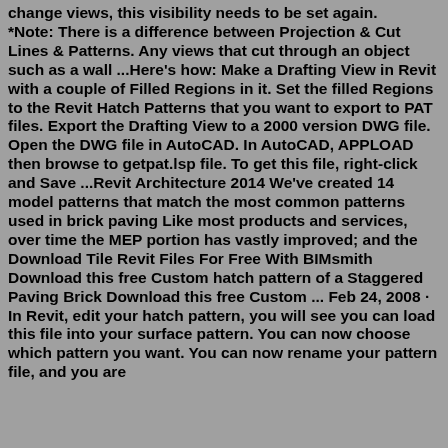change views, this visibility needs to be set again. *Note: There is a difference between Projection & Cut Lines & Patterns. Any views that cut through an object such as a wall ...Here's how: Make a Drafting View in Revit with a couple of Filled Regions in it. Set the filled Regions to the Revit Hatch Patterns that you want to export to PAT files. Export the Drafting View to a 2000 version DWG file. Open the DWG file in AutoCAD. In AutoCAD, APPLOAD then browse to getpat.lsp file. To get this file, right-click and Save ...Revit Architecture 2014 We've created 14 model patterns that match the most common patterns used in brick paving Like most products and services, over time the MEP portion has vastly improved; and the Download Tile Revit Files For Free With BIMsmith Download this free Custom hatch pattern of a Staggered Paving Brick Download this free Custom ... Feb 24, 2008 · In Revit, edit your hatch pattern, you will see you can load this file into your surface pattern. You can now choose which pattern you want. You can now rename your pattern file, and you are